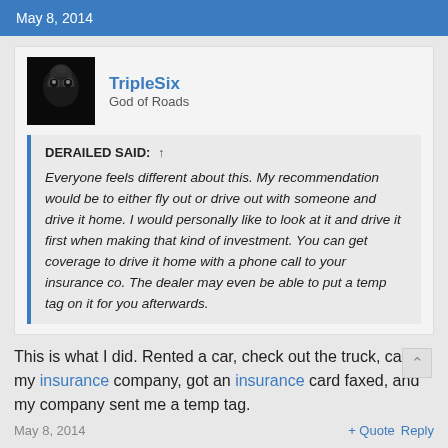May 8, 2014
TripleSix
God of Roads
DERAILED SAID: ↑
Everyone feels different about this. My recommendation would be to either fly out or drive out with someone and drive it home. I would personally like to look at it and drive it first when making that kind of investment. You can get coverage to drive it home with a phone call to your insurance co. The dealer may even be able to put a temp tag on it for you afterwards.
This is what I did. Rented a car, check out the truck, called my insurance company, got an insurance card faxed, and my company sent me a temp tag.
May 8, 2014    + Quote   Reply